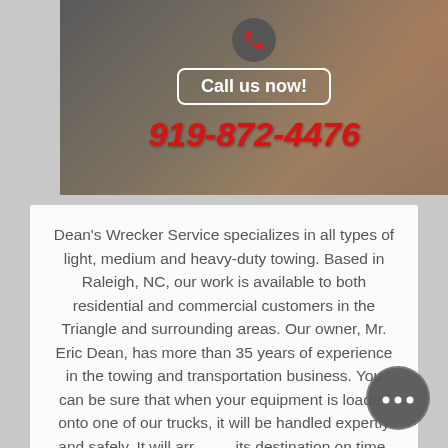[Figure (photo): Banner image with a dark overlay showing a person in red holding a phone. Contains a phone icon in a circle, a 'Call us now!' button outline, and the phone number 919-872-4476 in red italic text.]
Dean's Wrecker Service specializes in all types of light, medium and heavy-duty towing. Based in Raleigh, NC, our work is available to both residential and commercial customers in the Triangle and surrounding areas. Our owner, Mr. Eric Dean, has more than 35 years of experience in the towing and transportation business. You can be sure that when your equipment is loaded onto one of our trucks, it will be handled expertly and safely. It will arrive at its destination on time, and you can give us a call to check on its progress. Our truck drivers are